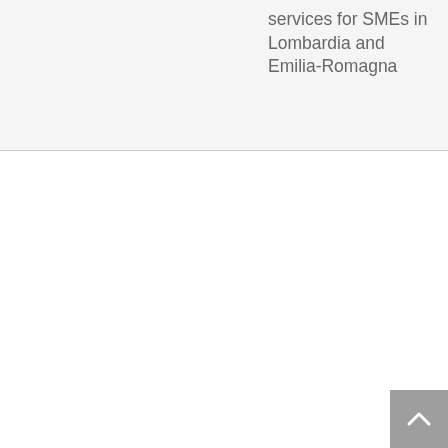services for SMEs in Lombardia and Emilia-Romagna